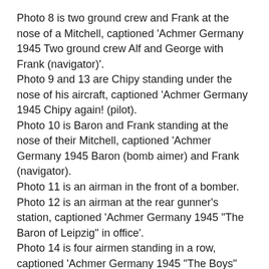Photo 8 is two ground crew and Frank at the nose of a Mitchell, captioned 'Achmer Germany 1945 Two ground crew Alf and George with Frank (navigator)'.
Photo 9 and 13 are Chipy standing under the nose of his aircraft, captioned 'Achmer Germany 1945 Chipy again! (pilot).
Photo 10 is Baron and Frank standing at the nose of their Mitchell, captioned 'Achmer Germany 1945 Baron (bomb aimer) and Frank (navigator).
Photo 11 is an airman in the front of a bomber.
Photo 12 is an airman at the rear gunner's station, captioned 'Achmer Germany 1945 "The Baron of Leipzig" in office'.
Photo 14 is four airmen standing in a row, captioned 'Achmer Germany 1945 "The Boys" Hicky, Tommy, Baron, Nuts'.
Photo 15 is Baron standing amongst bombed buildings, captioned 'Achmer Germany May 31st 1945 "The Baron" "How I done it" Osnabruck'.